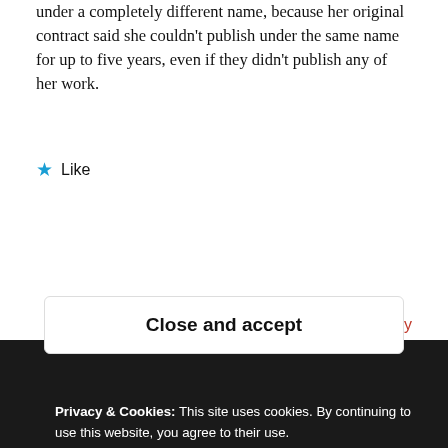under a completely different name, because her original contract said she couldn't publish under the same name for up to five years, even if they didn't publish any of her work.
★ Like
Reply
Veronica Sicoe
Privacy & Cookies: This site uses cookies. By continuing to use this website, you agree to their use. To find out more, including how to control cookies, see here: Cookie Policy
Close and accept
for all the benefits that brings.